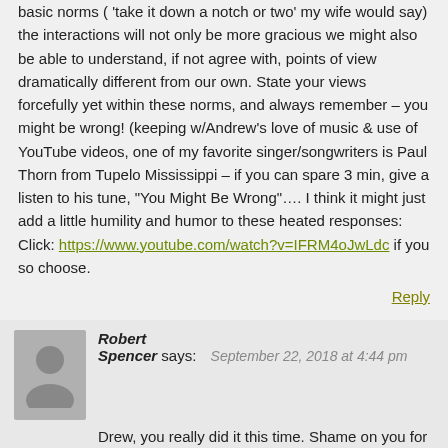basic norms ('take it down a notch or two' my wife would say) the interactions will not only be more gracious we might also be able to understand, if not agree with, points of view dramatically different from our own. State your views forcefully yet within these norms, and always remember – you might be wrong! (keeping w/Andrew's love of music & use of YouTube videos, one of my favorite singer/songwriters is Paul Thorn from Tupelo Mississippi – if you can spare 3 min, give a listen to his tune, "You Might Be Wrong"…. I think it might just add a little humility and humor to these heated responses: Click: https://www.youtube.com/watch?v=IFRM4oJwLdc if you so choose.
Reply
Robert Spencer says: September 22, 2018 at 4:44 pm
Drew, you really did it this time. Shame on y... creatively expressing a point of view that att... to deal with the scars of sexual abuse. Unfortunately, this